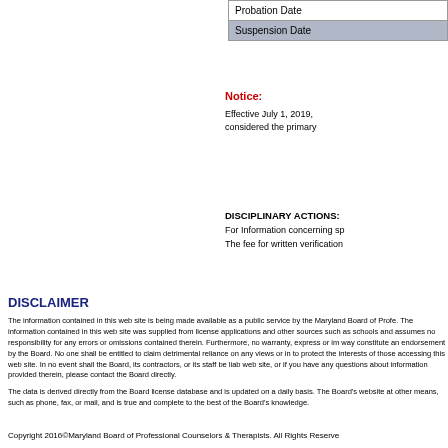| Probation Date |
| Suspension Date |
Notice:
Effective July 1, 2019, considered the primary
DISCIPLINARY ACTIONS:
For Information concerning sp
The fee for written verification
DISCLAIMER
The information contained in this web site is being made available as a public service by the Maryland Board of Profe. The information contained in this web site was supplied from license applications and other sources such as schools and assumes no responsibility for any errors or omissions contained therein. Furthermore, no warranty, express or im way constitute an endorsement by the Board. No one shall be entitled to claim detrimental reliance on any views or in to protect the interests of those accessing this web site. In no event shall the Board, its contractors, or its staff be liab web site, or if you have any questions about information provided therein, please contact the Board directly.
The data is derived directly from the Board license database and is updated on a daily basis. The Board's website at other means, such as phone, fax, or mail, and is true and complete to the best of the Board's knowledge.
Copyright 2016©Maryland Board of Professional Counselors & Therapists. All Rights Reserve